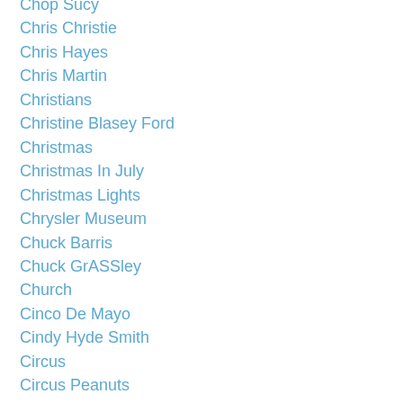Chop Sucy
Chris Christie
Chris Hayes
Chris Martin
Christians
Christine Blasey Ford
Christmas
Christmas In July
Christmas Lights
Chrysler Museum
Chuck Barris
Chuck GrASSley
Church
Cinco De Mayo
Cindy Hyde Smith
Circus
Circus Peanuts
City Of Literature
Civility
Clam Shells
Clarence Thomas